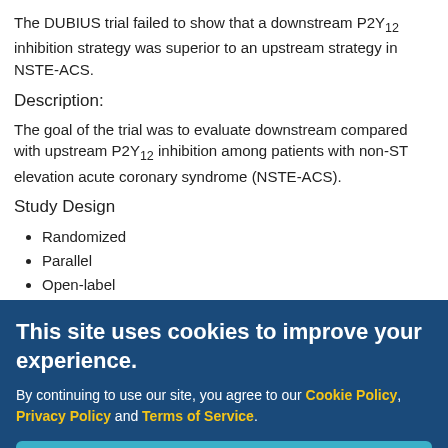The DUBIUS trial failed to show that a downstream P2Y₁₂ inhibition strategy was superior to an upstream strategy in NSTE-ACS.
Description:
The goal of the trial was to evaluate downstream compared with upstream P2Y₁₂ inhibition among patients with non-ST elevation acute coronary syndrome (NSTE-ACS).
Study Design
Randomized
Parallel
Open-label
Blocked
Patients were randomized to downstream P2Y₁₂ inhibitor (n = 721) versus upstream P2Y₁₂ inhibitor (n = 711). In the downstream strategy, patients undergoing percutaneous coronary intervention (PCI) were further randomized to receive ticagrelor v...
Total number of enrollees: 42
This site uses cookies to improve your experience. By continuing to use our site, you agree to our Cookie Policy, Privacy Policy and Terms of Service.